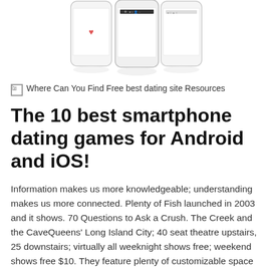[Figure (photo): Three smartphones displayed side by side showing dating app interfaces, with reflections below them on a white background.]
Where Can You Find Free best dating site Resources
The 10 best smartphone dating games for Android and iOS!
Information makes us more knowledgeable; understanding makes us more connected. Plenty of Fish launched in 2003 and it shows. 70 Questions to Ask a Crush. The Creek and the CaveQueens' Long Island City; 40 seat theatre upstairs, 25 downstairs; virtually all weeknight shows free; weekend shows free $10. They feature plenty of customizable space where you can add all of the important details, and even the envelopes are on brand, with a colorful map emblazoned on the inside. I am really delighted